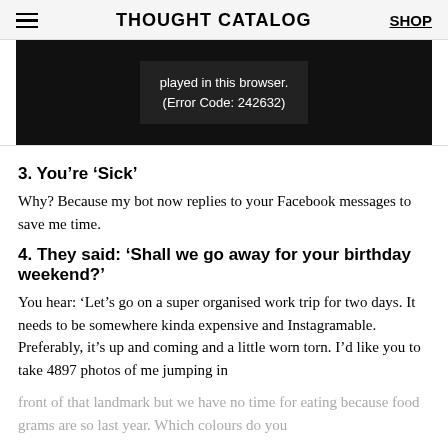THOUGHT CATALOG  SHOP
[Figure (screenshot): Black video player area showing error message: 'played in this browser. (Error Code: 242632)']
3. You’re ‘Sick’
Why? Because my bot now replies to your Facebook messages to save me time.
4. They said: ‘Shall we go away for your birthday weekend?’
You hear: ‘Let’s go on a super organised work trip for two days. It needs to be somewhere kinda expensive and Instagramable. Preferably, it’s up and coming and a little worn torn. I’d like you to take 4897 photos of me jumping in front of that landmark but we have no time for eating because food grams are so last year. Which colours do you